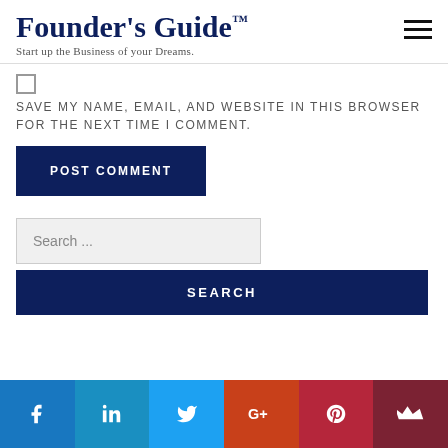Founder's Guide™ — Start up the Business of your Dreams.
SAVE MY NAME, EMAIL, AND WEBSITE IN THIS BROWSER FOR THE NEXT TIME I COMMENT.
POST COMMENT
Search ...
SEARCH
[Figure (infographic): Social media icon bar with Facebook, LinkedIn, Twitter, Google+, Pinterest, and a crown/email icon]